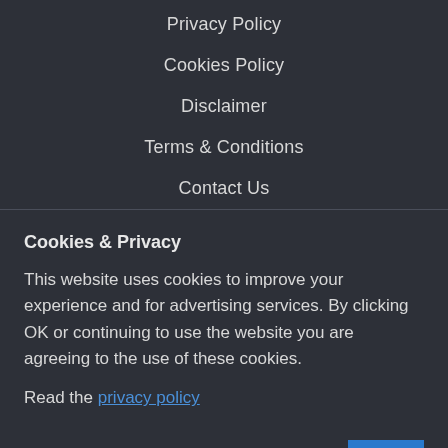Privacy Policy
Cookies Policy
Disclaimer
Terms & Conditions
Contact Us
Cookies & Privacy
This website uses cookies to improve your experience and for advertising services. By clicking OK or continuing to use the website you are agreeing to the use of these cookies.
Read the privacy policy